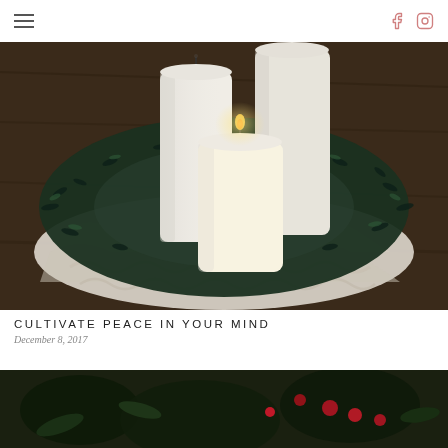Navigation header with hamburger menu and social icons (Facebook, Instagram)
[Figure (photo): Three white pillar candles of varying heights surrounded by a lush green garland wreath arranged on a macrame table runner on a dark wooden surface]
CULTIVATE PEACE IN YOUR MIND
December 8, 2017
[Figure (photo): Partial view of a second blog post image showing dark greenery and red berries at the bottom of the page]